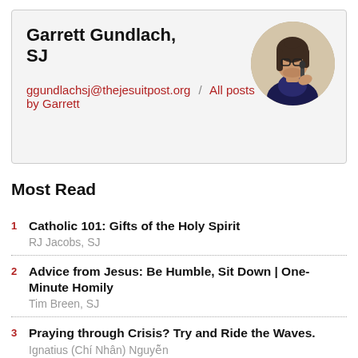Garrett Gundlach, SJ
[Figure (photo): Circular portrait photo of Garrett Gundlach, SJ, a man with long hair and glasses speaking into a microphone]
ggundlachsj@thejesuitpost.org / All posts by Garrett
Most Read
1 Catholic 101: Gifts of the Holy Spirit
RJ Jacobs, SJ
2 Advice from Jesus: Be Humble, Sit Down | One-Minute Homily
Tim Breen, SJ
3 Praying through Crisis? Try and Ride the Waves.
Ignatius (Chí Nhân) Nguyễn